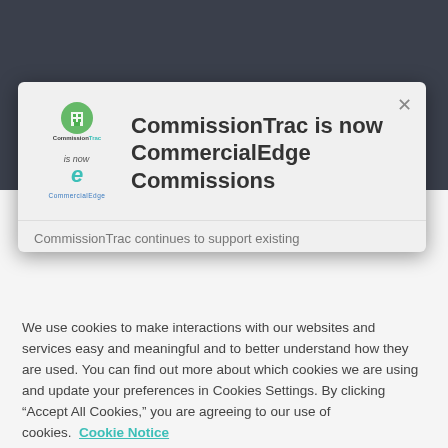[Figure (screenshot): CommissionTrac is now CommercialEdge modal dialog with logo showing CommissionTrac transitioning to CommercialEdge]
CommissionTrac is now CommercialEdge Commissions
CommissionTrac continues to support existing
We use cookies to make interactions with our websites and services easy and meaningful and to better understand how they are used. You can find out more about which cookies we are using and update your preferences in Cookies Settings. By clicking “Accept All Cookies,” you are agreeing to our use of cookies. Cookie Notice
Cookies Settings
Accept All Cookies